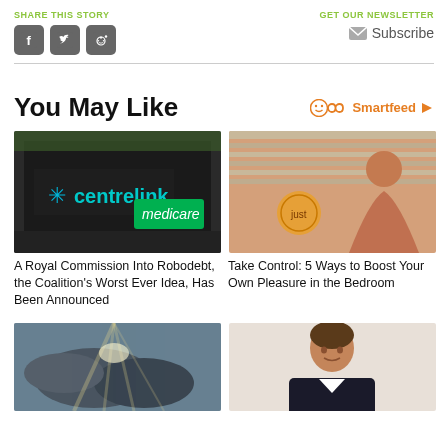SHARE THIS STORY
[Figure (other): Social share buttons: Facebook, Twitter, Reddit]
GET OUR NEWSLETTER
Subscribe
You May Like
[Figure (logo): Smartfeed logo with infinity icon and play button]
[Figure (photo): Centrelink and Medicare signage on a dark building]
A Royal Commission Into Robodebt, the Coalition's Worst Ever Idea, Has Been Announced
[Figure (photo): Woman sitting in a room near window blinds]
Take Control: 5 Ways to Boost Your Own Pleasure in the Bedroom
[Figure (photo): Sunlight breaking through dramatic clouds]
[Figure (photo): Man in dark jacket, professional headshot]